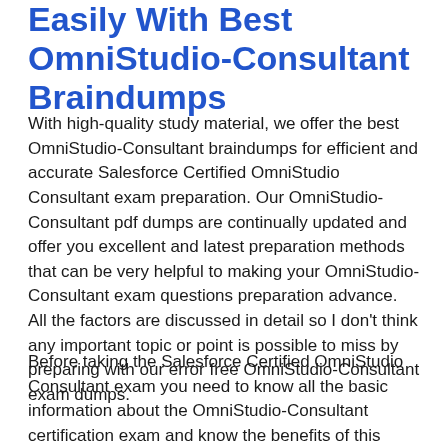Easily With Best OmniStudio-Consultant Braindumps
With high-quality study material, we offer the best OmniStudio-Consultant braindumps for efficient and accurate Salesforce Certified OmniStudio Consultant exam preparation. Our OmniStudio-Consultant pdf dumps are continually updated and offer you excellent and latest preparation methods that can be very helpful to making your OmniStudio-Consultant exam questions preparation advance. All the factors are discussed in detail so I don't think any important topic or point is possible to miss by preparing with our error free OmniStudio-Consultant exam dumps.
Before taking the Salesforce Certified OmniStudio Consultant exam you need to know all the basic information about the OmniStudio-Consultant certification exam and know the benefits of this exam and also its worth, through the OmniStudio-Consultant